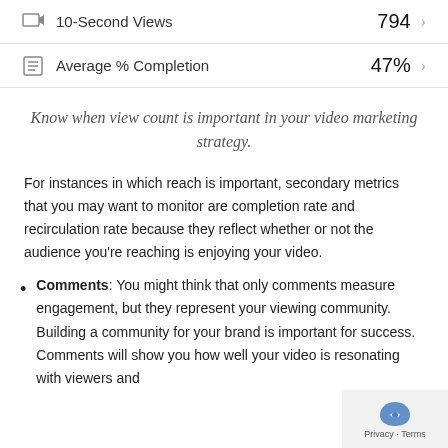| Metric | Value |
| --- | --- |
| 10-Second Views | 794 |
| Average % Completion | 47% |
Know when view count is important in your video marketing strategy.
For instances in which reach is important, secondary metrics that you may want to monitor are completion rate and recirculation rate because they reflect whether or not the audience you're reaching is enjoying your video.
Comments: You might think that only comments measure engagement, but they represent your viewing community. Building a community for your brand is important for success. Comments will show you how well your video is resonating with viewers and